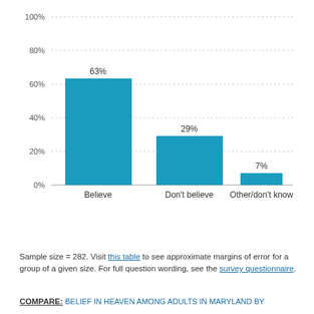[Figure (bar-chart): ]
Sample size = 282. Visit this table to see approximate margins of error for a group of a given size. For full question wording, see the survey questionnaire.
COMPARE: BELIEF IN HEAVEN AMONG ADULTS IN MARYLAND BY...